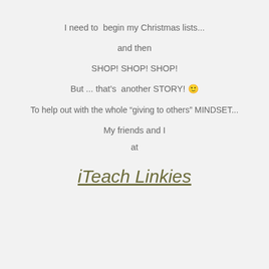I need to  begin my Christmas lists...
and then
SHOP! SHOP! SHOP!
But ... that's  another STORY! 🙂
To help out with the whole “giving to others” MINDSET...
My friends and I
at
iTeach Linkies